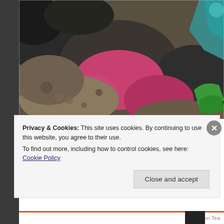[Figure (photo): Close-up photo of rocky terrain with colorful painted markings in pink/magenta and green on the rocks, with a teal/blue armored figure partially visible in the upper right corner.]
The Ugly: I have one last small issue with Ambush. In a w a compliment and a testament to how good this guy lo
Privacy & Cookies: This site uses cookies. By continuing to use this website, you agree to their use.
To find out more, including how to control cookies, see here: Cookie Policy
Close and accept